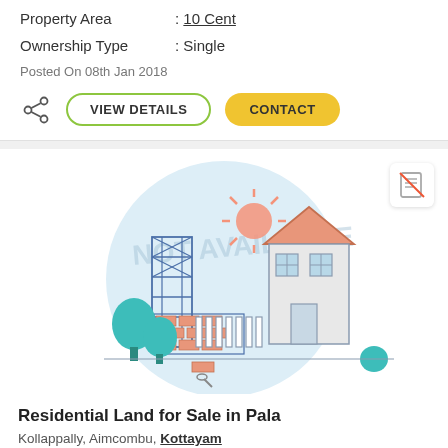Property Area : 10 Cent
Ownership Type : Single
Posted On 08th Jan 2018
[Figure (illustration): Real estate listing illustration showing a house under construction with trees, bricks, scaffolding, and a sun, with 'NOT AVAILABLE' watermark text in the background circle]
Residential Land for Sale in Pala
Kollappally, Aimcombu, Kottayam